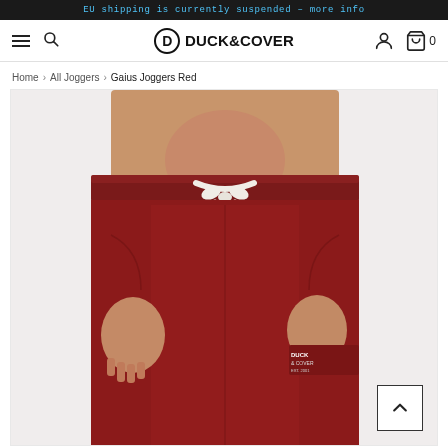EU shipping is currently suspended - more info
Duck & Cover — navigation with hamburger, search, account, and cart (0)
Home > All Joggers > Gaius Joggers Red
[Figure (photo): A male model wearing dark red/burgundy jogger pants with a white drawstring at the waist. The pants have a Duck & Cover logo printed on the lower left leg. The model is shirtless and the image is cropped from mid-torso down.]